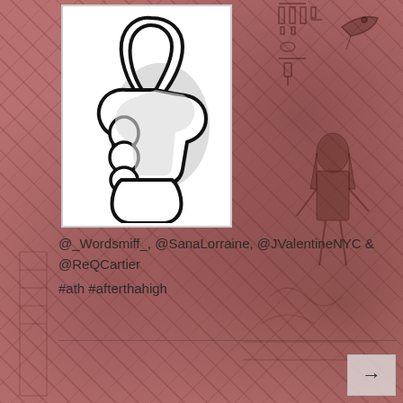[Figure (illustration): Cartoon thumbs-up hand icon (white glove style, black outline, grey shading) on white background card, overlaid on an Egyptian mural / hieroglyphics reddish-brown background image.]
@_Wordsmiff_, @SanaLorraine, @JValentineNYC & @ReQCartier
#ath #afterthahigh